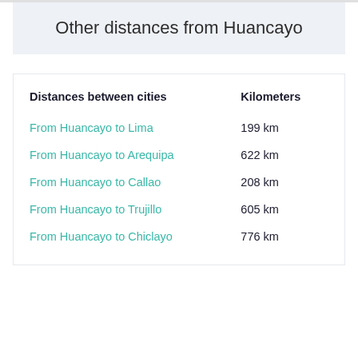Other distances from Huancayo
| Distances between cities | Kilometers |
| --- | --- |
| From Huancayo to Lima | 199 km |
| From Huancayo to Arequipa | 622 km |
| From Huancayo to Callao | 208 km |
| From Huancayo to Trujillo | 605 km |
| From Huancayo to Chiclayo | 776 km |